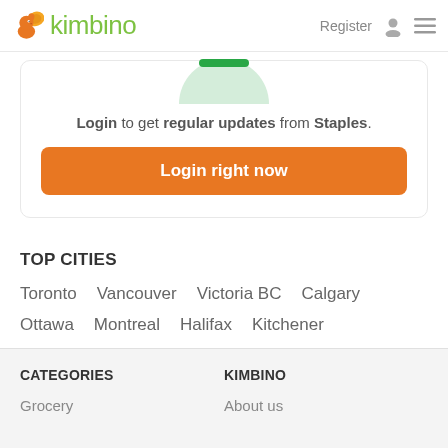kimbino — Register
[Figure (screenshot): Kimbino website screenshot showing login prompt card with green circle graphic at top, login text, and orange login button]
Login to get regular updates from Staples.
Login right now
TOP CITIES
Toronto
Vancouver
Victoria BC
Calgary
Ottawa
Montreal
Halifax
Kitchener
Hamilton
Quebec
CATEGORIES
KIMBINO
Grocery
About us